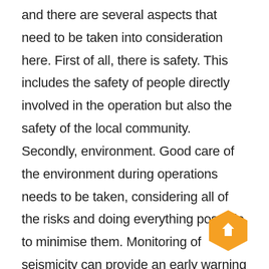and there are several aspects that need to be taken into consideration here. First of all, there is safety. This includes the safety of people directly involved in the operation but also the safety of the local community. Secondly, environment. Good care of the environment during operations needs to be taken, considering all of the risks and doing everything possible to minimise them. Monitoring of seismicity can provide an early warning in case of any operations problems. Thirdly, the infrastructure. Monitoring of seismicity can also help with the mitigation of hazards directly affecting the infrastructure of the site (well integrity, ca… boreholes, etc).
[Figure (other): Orange hexagonal button with white upward arrow icon]